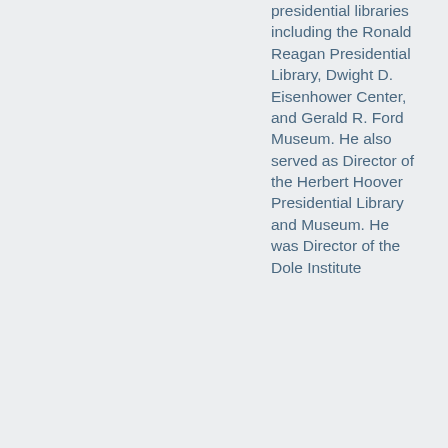presidential libraries including the Ronald Reagan Presidential Library, Dwight D. Eisenhower Center, and Gerald R. Ford Museum. He also served as Director of the Herbert Hoover Presidential Library and Museum. He was Director of the Dole Institute